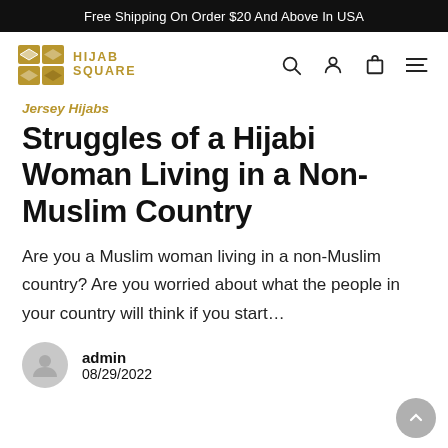Free Shipping On Order $20 And Above In USA
[Figure (logo): Hijab Square logo with geometric diamond pattern icon in gold/brown and text HIJAB SQUARE]
Jersey Hijabs
Struggles of a Hijabi Woman Living in a Non-Muslim Country
Are you a Muslim woman living in a non-Muslim country? Are you worried about what the people in your country will think if you start…
admin
08/29/2022